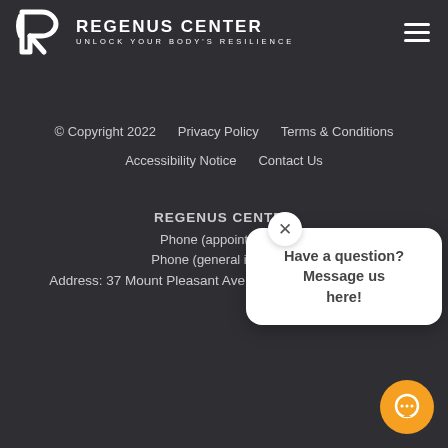REGENUS CENTER UNLOCK YOUR BODY'S RESILIENCE
© Copyright 2022   Privacy Policy   Terms & Conditions   Accessibility Notice   Contact Us
REGENUS CENTER
Phone (appointments)
Phone (general inquiries)
Address: 37 Mount Pleasant Ave, East Hanover, NJ 07936
[Figure (other): Chat popup overlay with close button (X) and message: Have a question? Message us here!]
[Figure (other): Orange circular chat button with speech bubble icon in bottom-right corner]